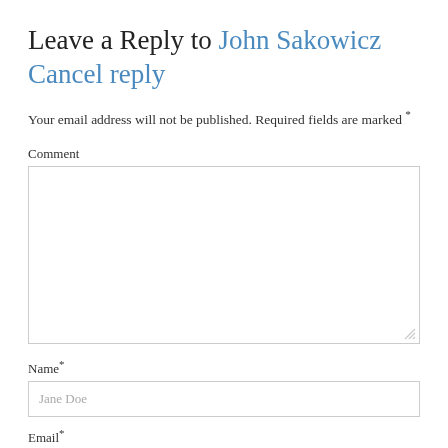Leave a Reply to John Sakowicz Cancel reply
Your email address will not be published. Required fields are marked *
Comment
Name*
Email*